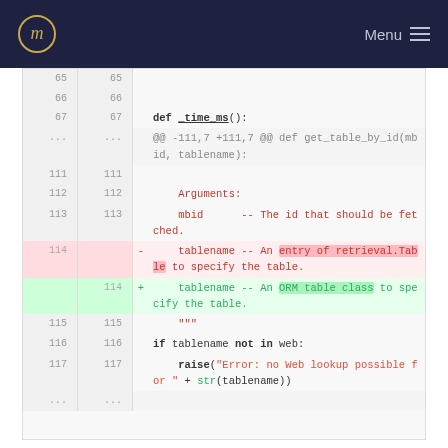Menu
[Figure (screenshot): Code diff view showing Python source code with line numbers. Lines 65-67 show normal code including 'def _time_ms():'. An info hunk header shows '@@ -111,7 +111,7 @@ def get_table_by_id(mbid, tablename):'. Lines 111-113 show Arguments docstring. Line 114 is a deleted line (red): '- tablename -- An entry of retrieval.Table to specify the table.' Line 114 is an added line (green): '+ tablename -- An ORM table class to specify the table.' Lines 115-117 show closing docstring triple quotes and 'if tablename not in web:' and 'raise("Error: no Web lookup possible for " + str(tablename))'.]